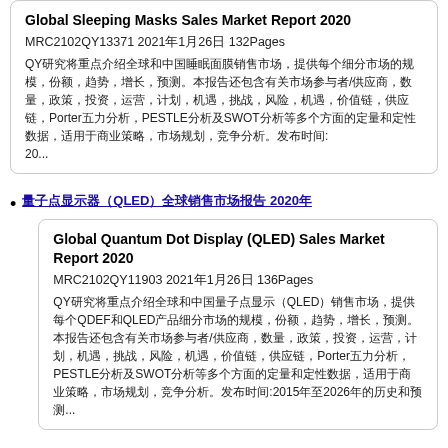Global Sleeping Masks Sales Market Report 2020
MRC2102QY13371 2021年1月26日 132Pages
QY研究将重点介绍全球和中国睡眠面膜销售市场，提供每个细分市场的规模，份额，趋势，增长，预测。本报告还包含有关市场参与者/供应商，数量，政策，投资，运营，计划，机遇，挑战，风险，机遇，价值链，供应链，Porter五力分析，PESTLE分析及SWOT分析等多个方面的定量和定性数据，适用于商业策略，市场规划，竞争分析。发布时间:20...
量子点显示器（QLED）全球销售市场报告 2020年
Global Quantum Dot Display (QLED) Sales Market Report 2020
MRC2102QY11903 2021年1月26日 136Pages
QY研究将重点介绍全球和中国量子点显示（QLED）销售市场，提供每个QDEF和QLED产品细分市场的规模，份额，趋势，增长，预测。本报告还包含有关市场参与者/供应商，数量，政策，投资，运营，计划，机遇，挑战，风险，机遇，价值链，供应链，Porter五力分析，PESTLE分析及SWOT分析等多个方面的定量和定性数据，适用于商业策略，市场规划，竞争分析。发布时间:2015年至2026年的历史和预测...
摩卡壶全球销售市场报告 2020年
Global Moka Pots Sales Market Report 2020
MRC2102QY9264 2021年1月26日 135Pages
QY研究将重点介绍全球和中国摩卡壶销售市场，提供每个细分市场的规模，份额，趋势，增长，预测。本报告还包含有关市场参与者/供应商，数量，政策，投资，运营，计划，机遇，挑战，风险，机遇，价值链，供应链，Porter五力分析，PESTLE分析及SWOT分析等多个方面的定量和定性数据，适用于商业策略，市场规划，竞争分析。发布时间:2015年至2026年...